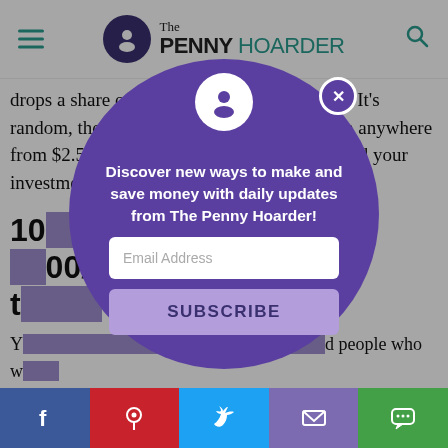The Penny Hoarder
drops a share of free stock into your account. It's random, though, so that stock could be worth anywhere from $2.50 to $200 — a nice b… …build your investments.
10… /Week t…
Y… people who w… A… and deliver an… and o…ing your caffe…s m… deliver from Chipotle,… …eds of other
[Figure (screenshot): Modal popup with purple circle background showing The Penny Hoarder logo, tagline 'Discover new ways to make and save money with daily updates from The Penny Hoarder!', an email address input field, and a SUBSCRIBE button. A close X button is in the upper right of the circle.]